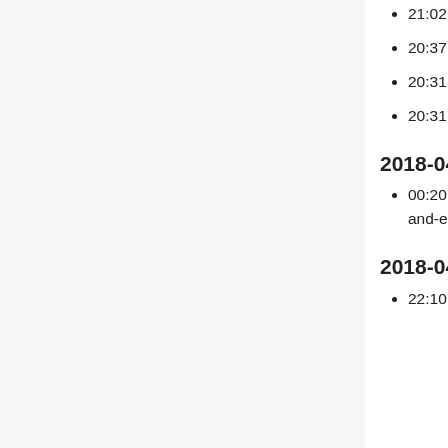21:02 zhuyifei1999_: copy over labs/private:/hieradata/labs/tools/commo to project puppet hiera
20:37 bd808: Added Neha16 as a project admin for work on T175768
20:31 zhuyifei1999_: nuke webservice instances and rebuild
20:31 zhuyifei1999_: Added k8s_infrastructure_users to project hiera on horizon T192618
2018-04-20
00:20 zhuyifei1999_: deleted all instances I just created except k8s master because of chicken-and-egg problem
2018-04-19
22:10 zhuyifei1999_: the trusty